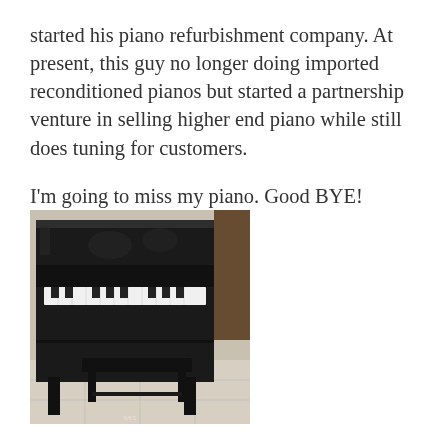started his piano refurbishment company. At present, this guy no longer doing imported reconditioned pianos but started a partnership venture in selling higher end piano while still does tuning for customers.

I'm going to miss my piano. Good BYE!
[Figure (photo): A black upright piano with a matching black piano bench, photographed indoors on a light tiled floor. The piano's glossy black finish reflects the room. Chairs and tables are faintly visible as reflections in the piano's surface.]